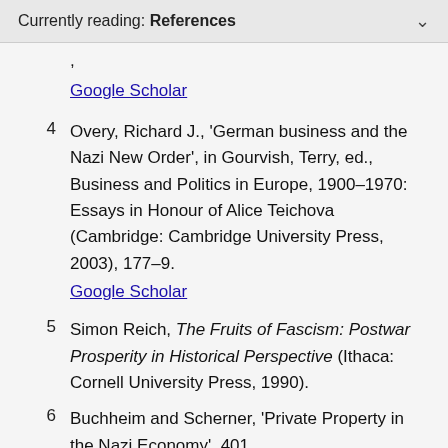Currently reading: References
Google Scholar
4  Overy, Richard J., 'German business and the Nazi New Order', in Gourvish, Terry, ed., Business and Politics in Europe, 1900–1970: Essays in Honour of Alice Teichova (Cambridge: Cambridge University Press, 2003), 177–9.
Google Scholar
5  Simon Reich, The Fruits of Fascism: Postwar Prosperity in Historical Perspective (Ithaca: Cornell University Press, 1990).
6  Buchheim and Scherner, 'Private Property in the Nazi Economy', 401.
7  A case can be made that survival is the